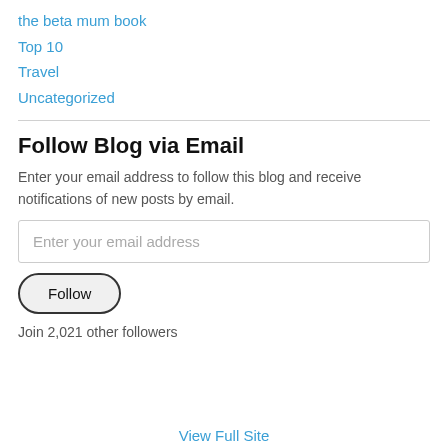the beta mum book
Top 10
Travel
Uncategorized
Follow Blog via Email
Enter your email address to follow this blog and receive notifications of new posts by email.
Enter your email address
Follow
Join 2,021 other followers
View Full Site